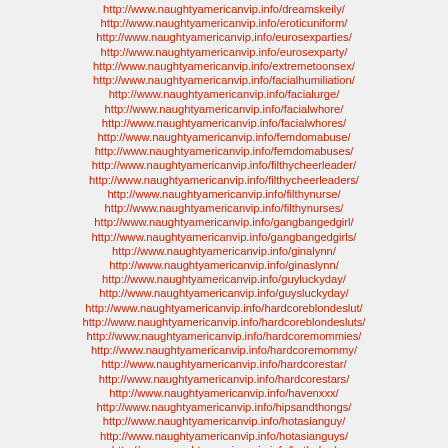http://www.naughtyamericanvip.info/dreamskeily/
http://www.naughtyamericanvip.info/eroticuniform/
http://www.naughtyamericanvip.info/eurosexparties/
http://www.naughtyamericanvip.info/eurosexparty/
http://www.naughtyamericanvip.info/extremetoonsex/
http://www.naughtyamericanvip.info/facialhumiliation/
http://www.naughtyamericanvip.info/facialurge/
http://www.naughtyamericanvip.info/facialwhore/
http://www.naughtyamericanvip.info/facialwhores/
http://www.naughtyamericanvip.info/femdomabuse/
http://www.naughtyamericanvip.info/femdomabuses/
http://www.naughtyamericanvip.info/filthycheerleader/
http://www.naughtyamericanvip.info/filthycheerleaders/
http://www.naughtyamericanvip.info/filthynurse/
http://www.naughtyamericanvip.info/filthynurses/
http://www.naughtyamericanvip.info/gangbangedgirl/
http://www.naughtyamericanvip.info/gangbangedgirls/
http://www.naughtyamericanvip.info/ginalynn/
http://www.naughtyamericanvip.info/ginaslynn/
http://www.naughtyamericanvip.info/guyluckyday/
http://www.naughtyamericanvip.info/guysluckyday/
http://www.naughtyamericanvip.info/hardcoreblondeslut/
http://www.naughtyamericanvip.info/hardcoreblondesluts/
http://www.naughtyamericanvip.info/hardcoremommies/
http://www.naughtyamericanvip.info/hardcoremommy/
http://www.naughtyamericanvip.info/hardcorestar/
http://www.naughtyamericanvip.info/hardcorestars/
http://www.naughtyamericanvip.info/havenxxx/
http://www.naughtyamericanvip.info/hipsandthongs/
http://www.naughtyamericanvip.info/hotasianguy/
http://www.naughtyamericanvip.info/hotasianguys/
http://www.naughtyamericanvip.info/hothaley/
http://www.naughtyamericanvip.info/hotshaley/
http://www.naughtyamericanvip.info/housewifecheater/
http://www.naughtyamericanvip.info/housewifecheaters/
http://www.naughtyamericanvip.info/interactivecartoon/
http://www.naughtyamericanvip.info/interactivecartoons/
http://www.naughtyamericanvip.info/jennyheart/